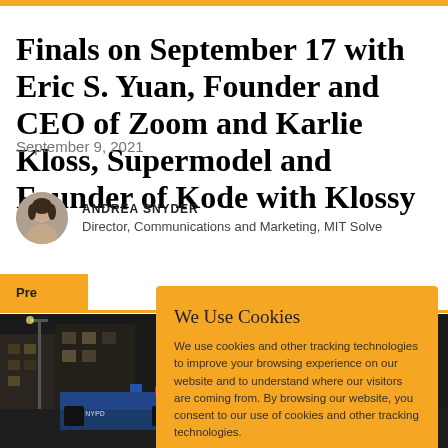Finals on September 17 with Eric S. Yuan, Founder and CEO of Zoom and Karlie Kloss, Supermodel and Founder of Kode with Klossy
September 9, 2021
ANDREA SNYDER
Director, Communications and Marketing, MIT Solve
Pre
[Figure (photo): Street scene with NYPD police car visible, dark urban street]
We Use Cookies
We use cookies and other tracking technologies to improve your browsing experience on our website and to understand where our visitors are coming from. By browsing our website, you consent to our use of cookies and other tracking technologies.